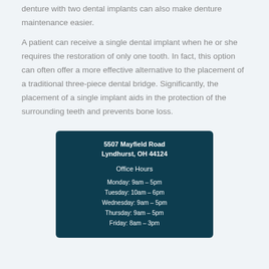denture with two dental implants can also make denture maintenance easier.
A patient can receive a single dental implant when he or she requires the restoration of only one tooth. In fact, this option can often offer a more effective alternative to the placement of a traditional three-piece dental bridge. Significantly, the placement of a single implant aids in the protection of the surrounding teeth and prevents bone loss.
5507 Mayfield Road
Lyndhurst, OH 44124

Office Hours

Monday: 9am – 5pm
Tuesday: 10am – 6pm
Wednesday: 9am – 5pm
Thursday: 9am – 5pm
Friday: 8am – 3pm